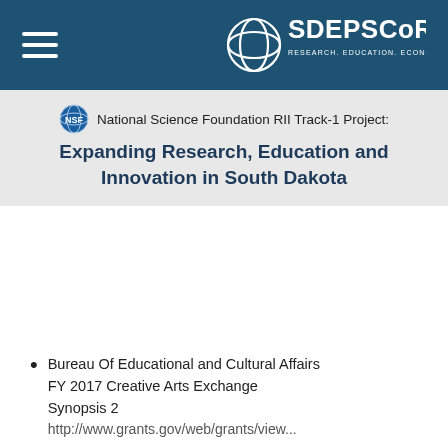SD EPSCoR — Research. Education. Economic Development.
National Science Foundation RII Track-1 Project: Expanding Research, Education and Innovation in South Dakota
Bureau Of Educational and Cultural Affairs FY 2017 Creative Arts Exchange Synopsis 2
http://www.grants.gov/web/grants/view...